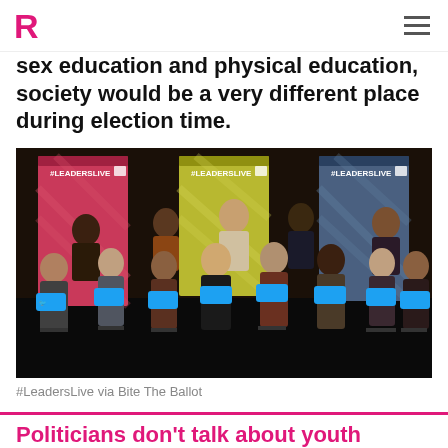R (logo)
sex education and physical education, society would be a very different place during election time.
[Figure (photo): Group of young people seated and standing on a stage in front of three branded #LeadersLive banner stands (red, yellow, blue), each person holding a Twitter bird logo sign with hashtag text.]
#LeadersLive via Bite The Ballot
Politicians don't talk about youth issues